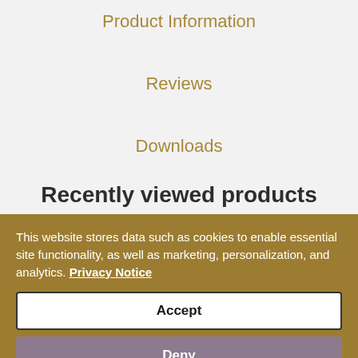Product Information
Reviews
Downloads
Recently viewed products
This website stores data such as cookies to enable essential site functionality, as well as marketing, personalization, and analytics. Privacy Notice
Accept
Deny